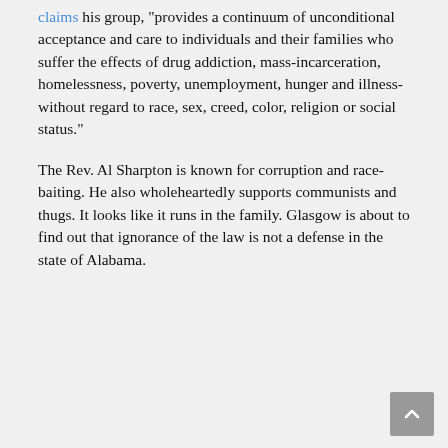claims his group, "provides a continuum of unconditional acceptance and care to individuals and their families who suffer the effects of drug addiction, mass-incarceration, homelessness, poverty, unemployment, hunger and illness-without regard to race, sex, creed, color, religion or social status."
The Rev. Al Sharpton is known for corruption and race-baiting. He also wholeheartedly supports communists and thugs. It looks like it runs in the family. Glasgow is about to find out that ignorance of the law is not a defense in the state of Alabama.